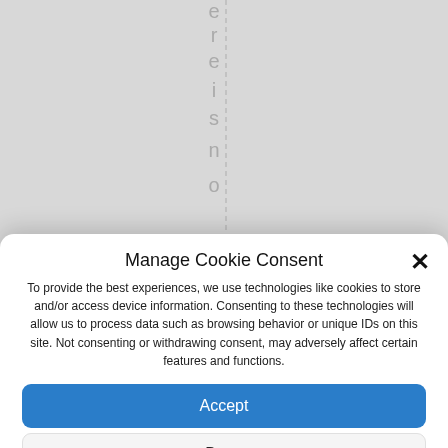[Figure (screenshot): Partial background with vertical rotated text letters 'e r e i s n o' along a dashed vertical line, representing a partially visible webpage behind the cookie consent modal.]
Manage Cookie Consent
To provide the best experiences, we use technologies like cookies to store and/or access device information. Consenting to these technologies will allow us to process data such as browsing behavior or unique IDs on this site. Not consenting or withdrawing consent, may adversely affect certain features and functions.
Accept
Deny
View preferences